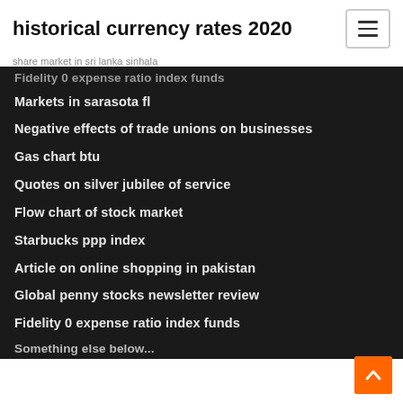historical currency rates 2020
share market in sri lanka sinhala
Fidelity 0 expense ratio index funds
Markets in sarasota fl
Negative effects of trade unions on businesses
Gas chart btu
Quotes on silver jubilee of service
Flow chart of stock market
Starbucks ppp index
Article on online shopping in pakistan
Global penny stocks newsletter review
Fidelity 0 expense ratio index funds
Something else below (partial)